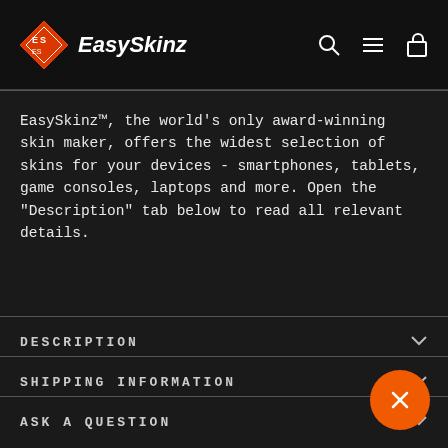EasySkinz
EasySkinz™, the world's only award-winning skin maker, offers the widest selection of skins for your devices - smartphones, tablets, game consoles, laptops and more. Open the "Description" tab below to read all relevant details.
DESCRIPTION
SHIPPING INFORMATION
ASK A QUESTION